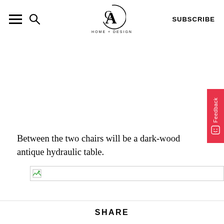CA HOME + DESIGN | SUBSCRIBE
Between the two chairs will be a dark-wood antique hydraulic table.
[Figure (photo): Broken image placeholder (image failed to load)]
SHARE